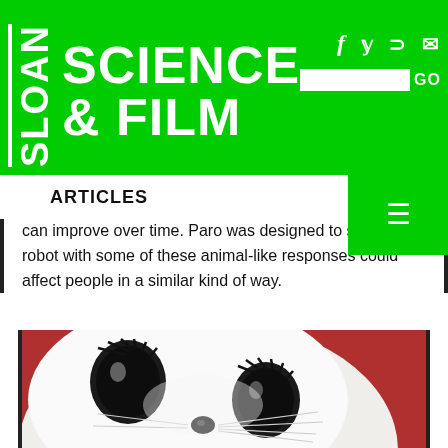[Figure (logo): Sloan Science & Film website header logo in white text on bright green background, with social media icons and search bar]
ARTICLES
can improve over time. Paro was designed to see if a robot with some of these animal-like responses could affect people in a similar kind of way.
[Figure (photo): Close-up photo of Paro, a white robotic seal with large black eyes and long eyelashes, against a red background]